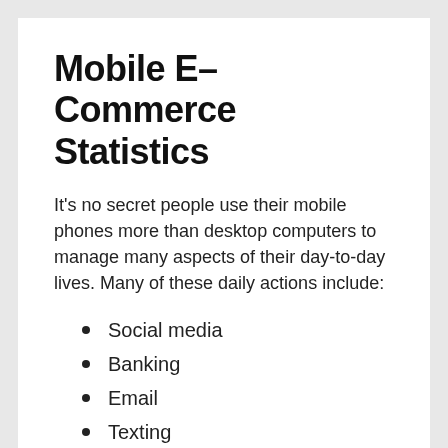Mobile E–Commerce Statistics
It's no secret people use their mobile phones more than desktop computers to manage many aspects of their day-to-day lives. Many of these daily actions include:
Social media
Banking
Email
Texting
Maps